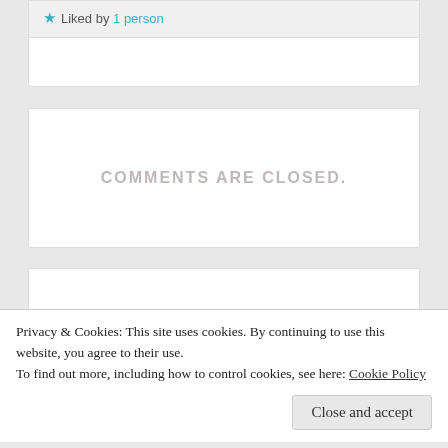★ Liked by 1 person
COMMENTS ARE CLOSED.
FOLLOW BLOG VIA EMAIL
Enter your email address to follow this blog and receive
Privacy & Cookies: This site uses cookies. By continuing to use this website, you agree to their use.
To find out more, including how to control cookies, see here: Cookie Policy
Close and accept